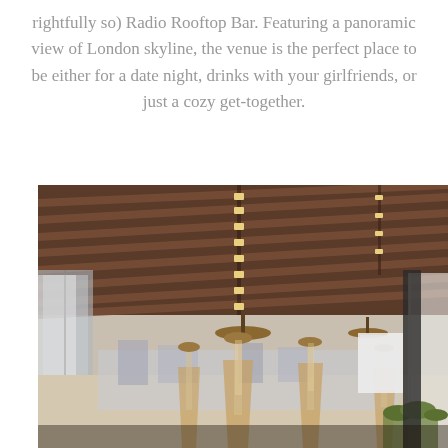rightfully so) Radio Rooftop Bar. Featuring a panoramic view of London skyline, the venue is the perfect place to be either for a date night, drinks with your girlfriends, or just a cozy get-together.
[Figure (photo): Interior photo of Radio Rooftop Bar showing a covered outdoor terrace with a metallic corrugated ceiling, string lights and pendant lamps, tall glass tube patio heaters on tripod stands, sheer white curtains on the sides, and a cityscape visible in the background.]